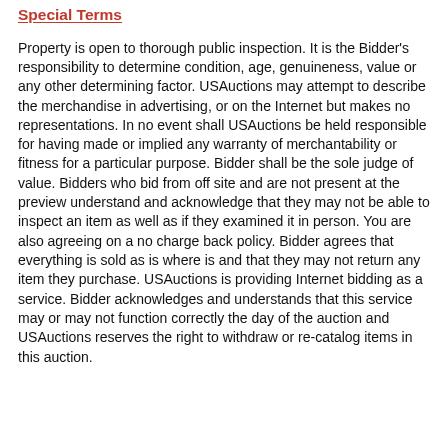Special Terms
Property is open to thorough public inspection. It is the Bidder's responsibility to determine condition, age, genuineness, value or any other determining factor. USAuctions may attempt to describe the merchandise in advertising, or on the Internet but makes no representations. In no event shall USAuctions be held responsible for having made or implied any warranty of merchantability or fitness for a particular purpose. Bidder shall be the sole judge of value. Bidders who bid from off site and are not present at the preview understand and acknowledge that they may not be able to inspect an item as well as if they examined it in person. You are also agreeing on a no charge back policy. Bidder agrees that everything is sold as is where is and that they may not return any item they purchase. USAuctions is providing Internet bidding as a service. Bidder acknowledges and understands that this service may or may not function correctly the day of the auction and USAuctions reserves the right to withdraw or re-catalog items in this auction.